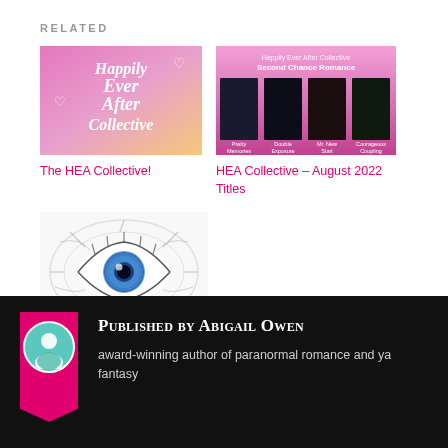RELATED
[Figure (illustration): Book cover image: Happily Ever After Collective, pink and orange gradient background with hearts and white stylized text]
The HEA Collective!
[Figure (illustration): Book cover collage: HEA Collective August 2022 Titles, pink background with multiple romance book covers including Pretty Memories, Double Exposure, Mr. New Start, Courageous Coupling]
HEA Collective – August 2022 Titles
[Figure (illustration): Close-up artistic illustration of a blue eye with swirling sketch lines around it]
My Top 10
Published by Abigail Owen
award-winning author of paranormal romance and ya fantasy